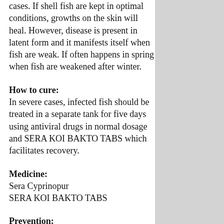cases. If shell fish are kept in optimal conditions, growths on the skin will heal. However, disease is present in latent form and it manifests itself when fish are weak. If often happens in spring when fish are weakened after winter.
How to cure:
In severe cases, infected fish should be treated in a separate tank for five days using antiviral drugs in normal dosage and SERA KOI BAKTO TABS which facilitates recovery.
Medicine:
Sera Cyprinopur
SERA KOI BAKTO TABS
Prevention:
The transmission of disease can be prevented by a two-time preventive antiviral drug